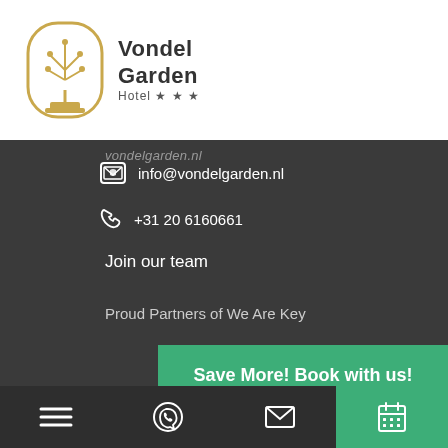[Figure (logo): Vondel Garden Hotel logo with tree emblem and three stars]
vondelgarden.nl
info@vondelgarden.nl
+31 20 6160661
Join our team
Proud Partners of We Are Key
Save More! Book with us!
[Figure (infographic): Bottom navigation bar with hamburger menu, WhatsApp icon, envelope icon, and calendar/booking icon]